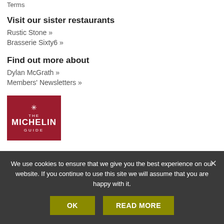Terms
Visit our sister restaurants
Rustic Stone »
Brasserie Sixty6 »
Find out more about
Dylan McGrath »
Members' Newsletters »
[Figure (logo): The Michelin Guide red logo badge with snowflake symbol]
We use cookies to ensure that we give you the best experience on our website. If you continue to use this site we will assume that you are happy with it.